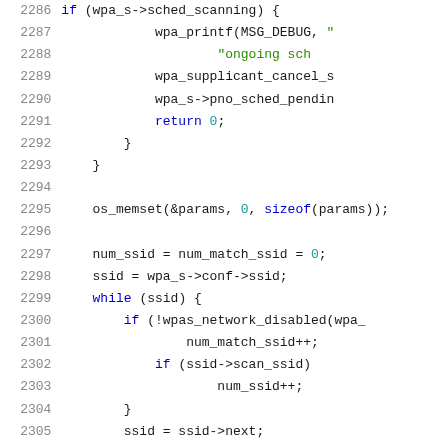[Figure (screenshot): Source code listing showing C code lines 2286-2307 with syntax highlighting. Line numbers in gray on left, keywords in blue, strings in green, numbers in teal/cyan, and identifiers in dark/black.]